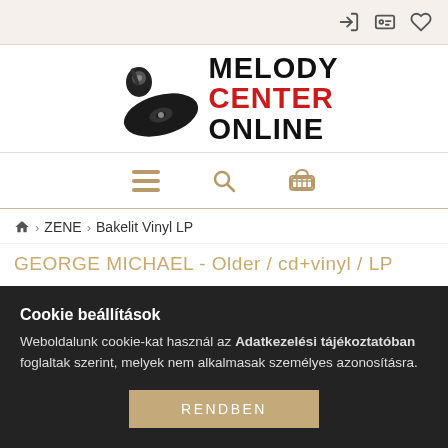[Figure (screenshot): Top bar with login, profile, and heart/wishlist icons on right side]
[Figure (logo): Melody Center Online logo with vinyl record graphic and bold text: MELODY (black), CENTER (red), ONLINE (black)]
[Figure (infographic): Navigation bar with hamburger menu icon, search icon, and shopping cart icon in tan/gold color]
🏠 > ZENE > Bakelit Vinyl LP
GEORGE MICHAEL - Older / cd+vinyl / LP
Cookie beállítások
Weboldalunk cookie-kat használ az Adatkezelési tájékoztatóban foglaltak szerint, melyek nem alkalmasak személyes azonosításra.
RENDBEN